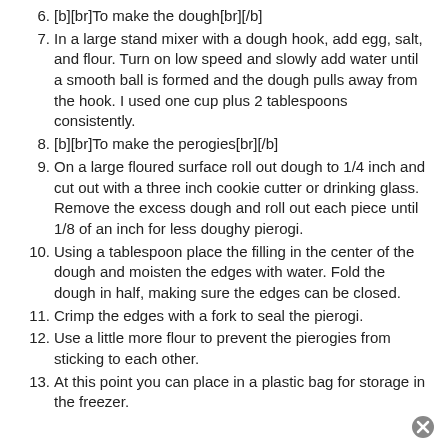[b][br]To make the dough[br][/b]
In a large stand mixer with a dough hook, add egg, salt, and flour. Turn on low speed and slowly add water until a smooth ball is formed and the dough pulls away from the hook. I used one cup plus 2 tablespoons consistently.
[b][br]To make the perogies[br][/b]
On a large floured surface roll out dough to 1/4 inch and cut out with a three inch cookie cutter or drinking glass. Remove the excess dough and roll out each piece until 1/8 of an inch for less doughy pierogi.
Using a tablespoon place the filling in the center of the dough and moisten the edges with water. Fold the dough in half, making sure the edges can be closed.
Crimp the edges with a fork to seal the pierogi.
Use a little more flour to prevent the pierogies from sticking to each other.
At this point you can place in a plastic bag for storage in the freezer.